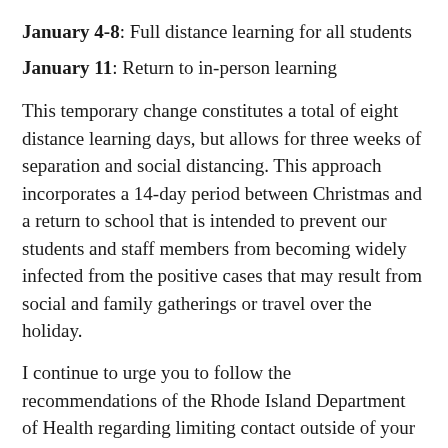January 4-8: Full distance learning for all students
January 11: Return to in-person learning
This temporary change constitutes a total of eight distance learning days, but allows for three weeks of separation and social distancing. This approach incorporates a 14-day period between Christmas and a return to school that is intended to prevent our students and staff members from becoming widely infected from the positive cases that may result from social and family gatherings or travel over the holiday.
I continue to urge you to follow the recommendations of the Rhode Island Department of Health regarding limiting contact outside of your household, wearing masks, and staying home if there are any signs of illness or after potential exposure. I also ask that you keep your holiday gatherings small and local. Even with all of these precautions, we expect a significant spike in cases following the holidays and are taking a proactive approach so that we can resume and maintain in-person learning throughout the following weeks and months.